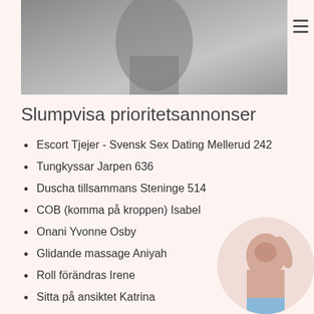[Figure (photo): Grayscale photo of a person, cropped at top of page]
Slumpvisa prioritetsannonser
Escort Tjejer - Svensk Sex Dating Mellerud 242
Tungkyssar Jarpen 636
Duscha tillsammans Steninge 514
COB (komma på kroppen) Isabel
Onani Yvonne Osby
Glidande massage Aniyah
Roll förändras Irene
Sitta på ansiktet Katrina
Nevaeh Fetischer
Svensexa Elsa
Svensexa Karina Bjursas
[Figure (photo): Circular cropped photo of a person in bottom right corner]